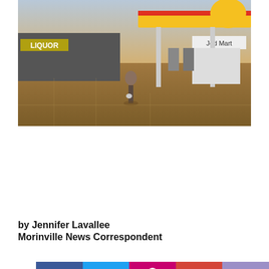[Figure (photo): Outdoor scene showing a person walking across a parking lot in front of a Shell gas station and a Liquor store. The Shell station has a yellow and red canopy logo. Sign reads 'Jed Mart'. The scene is lit with warm evening light.]
[Figure (screenshot): Social media share bar with Facebook, Twitter, Pinterest, Google+, and email icons. Below it is a Dairy Queen advertisement banner with food images and address '8807 100 St. - Morinville, 780-939-7550'. Overlaid is a cookie consent popup saying 'This website uses cookies to ensure you get the best experience on our website. Learn more' with a 'Got it' button.]
by Jennifer Lavallee
Morinville News Correspondent